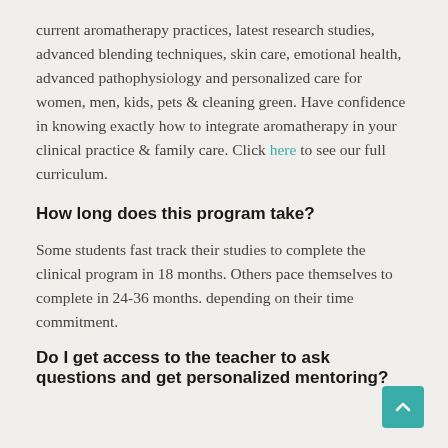current aromatherapy practices, latest research studies, advanced blending techniques, skin care, emotional health, advanced pathophysiology and personalized care for women, men, kids, pets & cleaning green. Have confidence in knowing exactly how to integrate aromatherapy in your clinical practice & family care. Click here to see our full curriculum.
How long does this program take?
Some students fast track their studies to complete the clinical program in 18 months. Others pace themselves to complete in 24-36 months. depending on their time commitment.
Do I get access to the teacher to ask questions and get personalized mentoring?